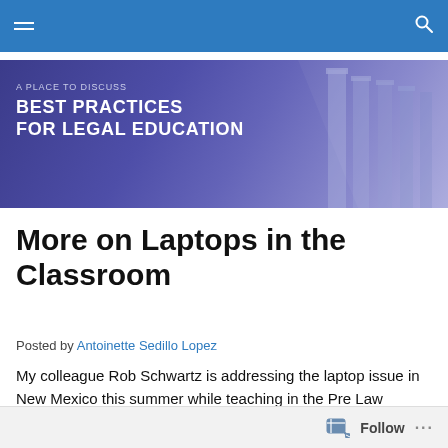[Figure (illustration): Blog banner for 'Best Practices For Legal Education' showing text overlay on a purple/blue background with Greek columns on the right side. Subtitle reads 'A Place To Discuss', main title reads 'Best Practices For Legal Education'.]
More on Laptops in the Classroom
Posted by Antoinette Sedillo Lopez
My colleague Rob Schwartz is addressing the laptop issue in New Mexico this summer while teaching in the Pre Law Summer Program for Indian Students (PLSI) run by the
Follow